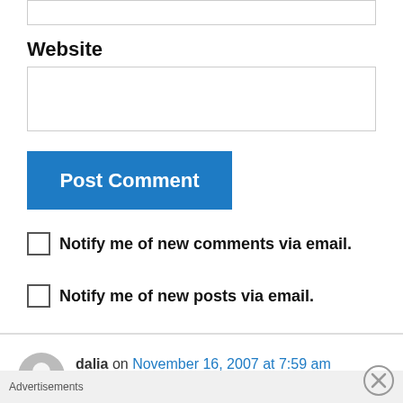[Figure (other): Input text field (top, partially visible)]
Website
[Figure (other): Website input text field]
[Figure (other): Blue 'Post Comment' button]
Notify me of new comments via email.
Notify me of new posts via email.
dalia on November 16, 2007 at 7:59 am
👍 4 👎 2 ℹ Rate This
Advertisements